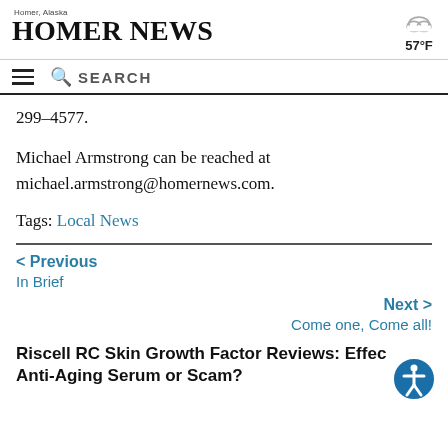Homer News — Homer, Alaska — 57°F
299-4577.
Michael Armstrong can be reached at michael.armstrong@homernews.com.
Tags: Local News
< Previous
In Brief
Next >
Come one, Come all!
Riscell RC Skin Growth Factor Reviews: Effective Anti-Aging Serum or Scam?